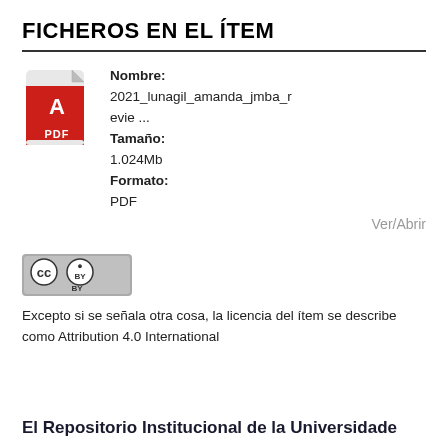FICHEROS EN EL ÍTEM
[Figure (illustration): Red PDF file icon with Acrobat logo and 'PDF' label]
Nombre:
2021_lunagil_amanda_jmba_revie ...
Tamaño:
1.024Mb
Formato:
PDF
Ver/Abrir
[Figure (logo): Creative Commons BY license badge — gray rectangle with CC and BY icons]
Excepto si se señala otra cosa, la licencia del ítem se describe como Attribution 4.0 International
El Repositorio Institucional de la Universidade